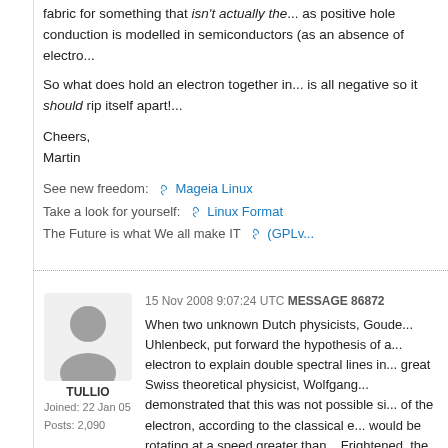fabric for something that isn't actually the... as positive hole conduction is modelled in semiconductors (as an absence of electron...
So what does hold an electron together in... is all negative so it should rip itself apart!...
Cheers,
Martin
See new freedom: 🔗 Mageia Linux
Take a look for yourself: 🔗 Linux Format
The Future is what We all make IT 🔗 (GPLv...
15 Nov 2008 9:07:24 UTC MESSAGE 86872
[Figure (illustration): Generic grey silhouette avatar of a user profile]
TULLIO
Joined: 22 Jan 05
Posts: 2,090
When two unknown Dutch physicists, Goude... Uhlenbeck, put forward the hypothesis of a... electron to explain double spectral lines in... great Swiss theoretical physicist, Wolfgang... demonstrated that this was not possible si... of the electron, according to the classical e... would be rotating at a speed greater than... Frightened, the two tried to recall their ar...